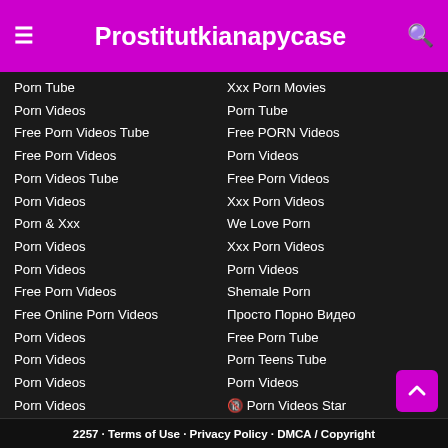Prostitutkianapycase
Porn Tube
Porn Videos
Free Porn Videos Tube
Free Porn Videos
Porn Videos Tube
Porn Videos
Porn & Xxx
Porn Videos
Porn Videos
Free Porn Videos
Free Online Porn Videos
Porn Videos
Porn Videos
Porn Videos
Porn Videos
Free Porn Videos
Free Porn Tube Videos
Free Porn Tube
Xxx Porn Movies
Porn Tube
Free PORN Videos
Porn Videos
Free Porn Videos
Xxx Porn Videos
We Love Porn
Xxx Porn Videos
Porn Videos
Shemale Porn
Просто Порно Видео
Free Porn Tube
Porn Teens Tube
Porn Videos
🔞 Porn Videos Star
Hentai Porn Videos
Reality Porn Pics
HOT Porn GIFs
2257 · Terms of Use · Privacy Policy · DMCA / Copyright